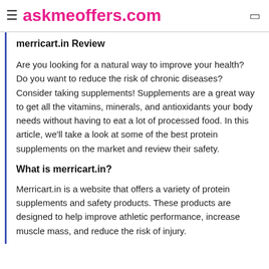askmeoffers.com
merricart.in Review
Are you looking for a natural way to improve your health? Do you want to reduce the risk of chronic diseases? Consider taking supplements! Supplements are a great way to get all the vitamins, minerals, and antioxidants your body needs without having to eat a lot of processed food. In this article, we'll take a look at some of the best protein supplements on the market and review their safety.
What is merricart.in?
Merricart.in is a website that offers a variety of protein supplements and safety products. These products are designed to help improve athletic performance, increase muscle mass, and reduce the risk of injury.